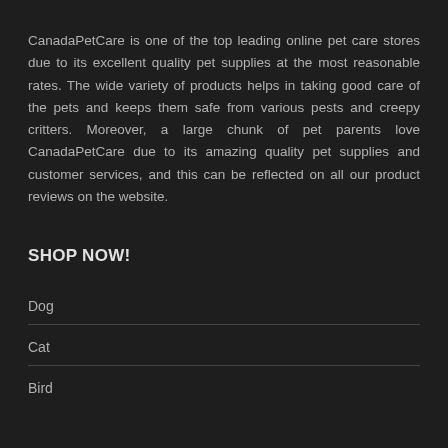CanadaPetCare is one of the top leading online pet care stores due to its excellent quality pet supplies at the most reasonable rates. The wide variety of products helps in taking good care of the pets and keeps them safe from various pests and creepy critters. Moreover, a large chunk of pet parents love CanadaPetCare due to its amazing quality pet supplies and customer services, and this can be reflected on all our product reviews on the website.
SHOP NOW!
Dog
Cat
Bird